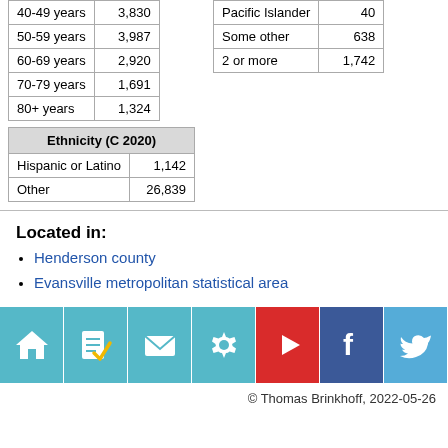| 40-49 years | 3,830 |
| 50-59 years | 3,987 |
| 60-69 years | 2,920 |
| 70-79 years | 1,691 |
| 80+ years | 1,324 |
| Ethnicity (C 2020) |
| --- |
| Hispanic or Latino | 1,142 |
| Other | 26,839 |
| Pacific Islander | 40 |
| Some other | 638 |
| 2 or more | 1,742 |
Located in:
Henderson county
Evansville metropolitan statistical area
[Figure (infographic): Icon bar with home, checklist, mail, settings, YouTube, Facebook, Twitter icons]
© Thomas Brinkhoff, 2022-05-26